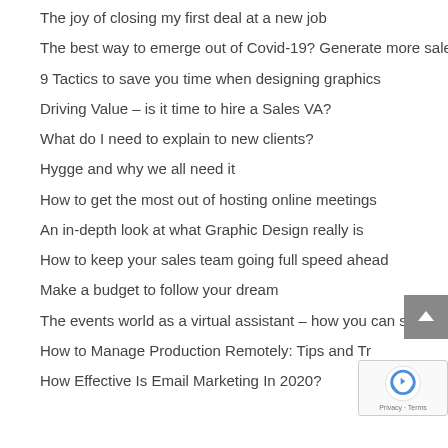The joy of closing my first deal at a new job
The best way to emerge out of Covid-19? Generate more sales
9 Tactics to save you time when designing graphics
Driving Value – is it time to hire a Sales VA?
What do I need to explain to new clients?
Hygge and why we all need it
How to get the most out of hosting online meetings
An in-depth look at what Graphic Design really is
How to keep your sales team going full speed ahead
Make a budget to follow your dream
The events world as a virtual assistant – how you can shine
How to Manage Production Remotely: Tips and Tr…
How Effective Is Email Marketing In 2020?